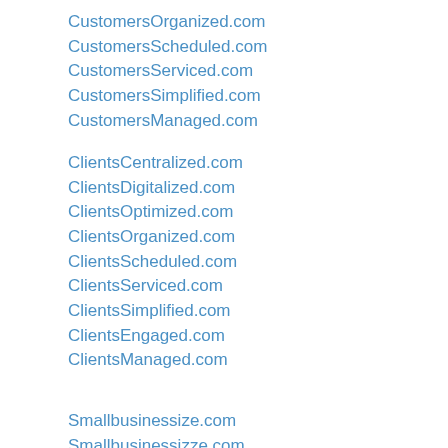CustomersOrganized.com
CustomersScheduled.com
CustomersServiced.com
CustomersSimplified.com
CustomersManaged.com
ClientsCentralized.com
ClientsDigitalized.com
ClientsOptimized.com
ClientsOrganized.com
ClientsScheduled.com
ClientsServiced.com
ClientsSimplified.com
ClientsEngaged.com
ClientsManaged.com
Smallbusinessize.com
Smallbusinessizze.com
BusinessApps101.com